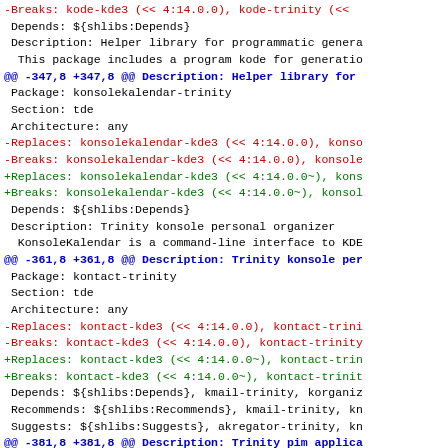diff/patch output showing changes to Debian package control file entries for konsolekalendar-trinity, kontact-trinity, and korganizer-trinity packages
-Breaks: kode-kde3 (<< 4:14.0.0), kode-trinity (<<...
Depends: ${shlibs:Depends}
Description: Helper library for programmatic genera...
This package includes a program kode for generatio...
@@ -347,8 +347,8 @@ Description: Helper library for...
Package: konsolekalendar-trinity
Section: tde
Architecture: any
-Replaces: konsolekalendar-kde3 (<< 4:14.0.0), konso...
-Breaks: konsolekalendar-kde3 (<< 4:14.0.0), konsole...
+Replaces: konsolekalendar-kde3 (<< 4:14.0.0~), kons...
+Breaks: konsolekalendar-kde3 (<< 4:14.0.0~), konsol...
Depends: ${shlibs:Depends}
Description: Trinity konsole personal organizer
KonsoleKalendar is a command-line interface to KDE...
@@ -361,8 +361,8 @@ Description: Trinity konsole per...
Package: kontact-trinity
Section: tde
Architecture: any
-Replaces: kontact-kde3 (<< 4:14.0.0), kontact-trini...
-Breaks: kontact-kde3 (<< 4:14.0.0), kontact-trinity...
+Replaces: kontact-kde3 (<< 4:14.0.0~), kontact-trin...
+Breaks: kontact-kde3 (<< 4:14.0.0~), kontact-trinit...
Depends: ${shlibs:Depends}, kmail-trinity, korganiz...
Recommends: ${shlibs:Recommends}, kmail-trinity, kn...
Suggests: ${shlibs:Suggests}, akregator-trinity, kn...
@@ -381,8 +381,8 @@ Description: Trinity pim applica...
Package: korganizer-trinity
Section: tde
Architecture: any
-Replaces: korganizer-kde3 (<< 4:14.0.0), korganize...